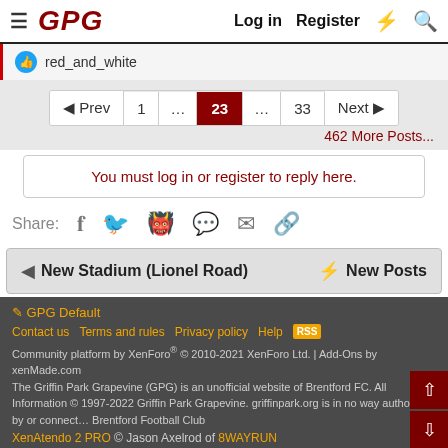GPG  Log in  Register
red_and_white
◄ Prev  1  ...  23  ...  33  Next ►
462 More Posts...
You must log in or register to reply here.
Share:
New Stadium (Lionel Road)  ⚡ New Posts
GPG Default
Contact us  Terms and rules  Privacy policy  Help
Community platform by XenForo® © 2010-2021 XenForo Ltd. | Add-Ons by xenMade.com
The Griffin Park Grapevine (GPG) is an unofficial website of Brentford FC. All Information © 1997-2022 Griffin Park Grapevine. griffinpark.org is in no way authorised by or connected to Brentford Football Club
XenAtendo 2 PRO © Jason Axelrod of 8WAYRUN